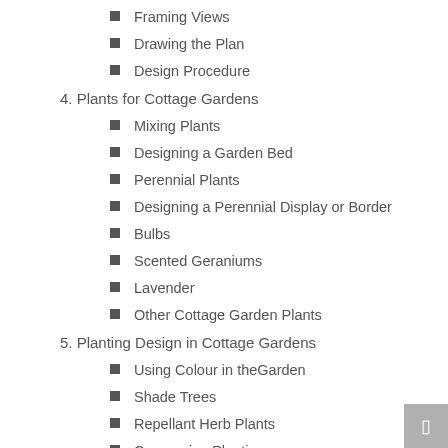Framing Views
Drawing the Plan
Design Procedure
4. Plants for Cottage Gardens
Mixing Plants
Designing a Garden Bed
Perennial Plants
Designing a Perennial Display or Border
Bulbs
Scented Geraniums
Lavender
Other Cottage Garden Plants
5. Planting Design in Cottage Gardens
Using Colour in theGarden
Shade Trees
Repellant Herb Plants
Companion Planting
Planting Design
6. Landscape Features and Components
Walls and Fencing
Pickets